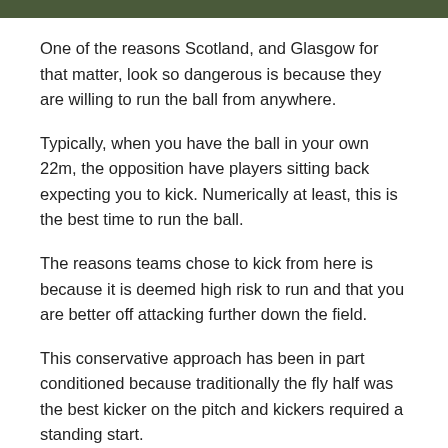[Figure (photo): Top portion of an outdoor photo showing green foliage/hedge, cropped at the top of the page.]
One of the reasons Scotland, and Glasgow for that matter, look so dangerous is because they are willing to run the ball from anywhere.
Typically, when you have the ball in your own 22m, the opposition have players sitting back expecting you to kick. Numerically at least, this is the best time to run the ball.
The reasons teams chose to kick from here is because it is deemed high risk to run and that you are better off attacking further down the field.
This conservative approach has been in part conditioned because traditionally the fly half was the best kicker on the pitch and kickers required a standing start.
Stuart Hogg is one of the players who has changed all